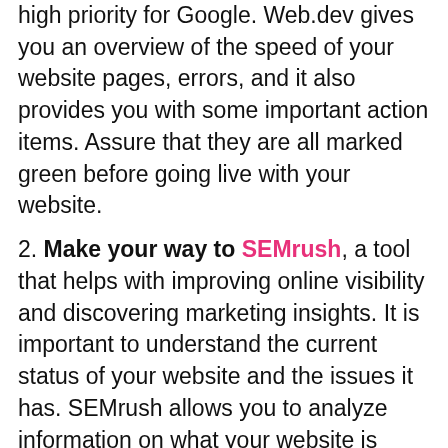high priority for Google. Web.dev gives you an overview of the speed of your website pages, errors, and it also provides you with some important action items. Assure that they are all marked green before going live with your website.
2. Make your way to SEMrush, a tool that helps with improving online visibility and discovering marketing insights. It is important to understand the current status of your website and the issues it has. SEMrush allows you to analyze information on what your website is ranking for, what keywords you are ranking on, how many backlinks you have and their quality, run a search engine analysis, and so on. Information like this is crucial, as it helps you dive deeper into the objectives you want to assign and hit.